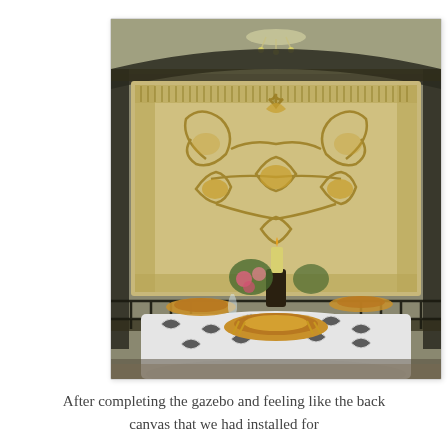[Figure (photo): Outdoor gazebo table setting with white floral tablecloth, gold plates, candles, and floral centerpiece. Behind the table is a large ornate gold decorative panel with shell and scroll motifs, framed by dark wrought-iron metalwork. A chandelier is visible at the top.]
After completing the gazebo and feeling like the back canvas that we had installed for